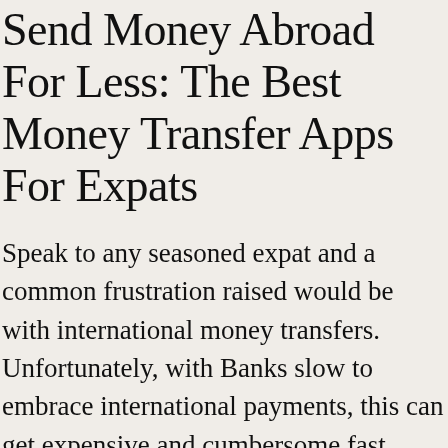Send Money Abroad For Less: The Best Money Transfer Apps For Expats
Speak to any seasoned expat and a common frustration raised would be with international money transfers. Unfortunately, with Banks slow to embrace international payments, this can get expensive and cumbersome fast through traditional remittance methods. Thankfully, money transfer apps have made it simple and easy to transfer money directly through your smartphone. These apps offer the ability to send